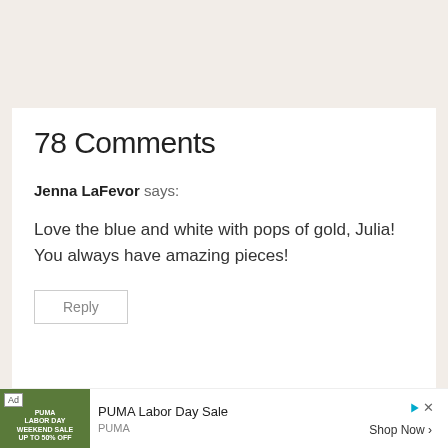78 Comments
Jenna LaFevor says:
Love the blue and white with pops of gold, Julia! You always have amazing pieces!
[Figure (screenshot): Reply button — outlined rectangular button with gray text 'Reply']
[Figure (screenshot): Ad banner: PUMA Labor Day Sale advertisement with image, 'Ad' label, PUMA branding, and 'Shop Now >' button]